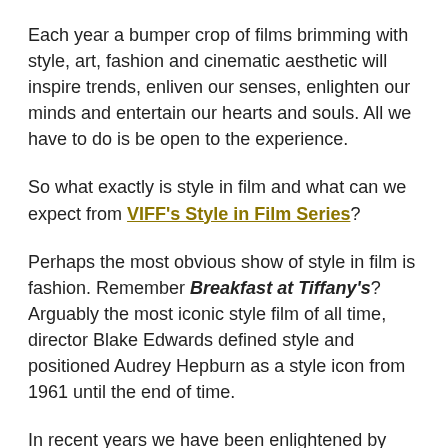Each year a bumper crop of films brimming with style, art, fashion and cinematic aesthetic will inspire trends, enliven our senses, enlighten our minds and entertain our hearts and souls. All we have to do is be open to the experience.
So what exactly is style in film and what can we expect from VIFF's Style in Film Series?
Perhaps the most obvious show of style in film is fashion. Remember Breakfast at Tiffany's? Arguably the most iconic style film of all time, director Blake Edwards defined style and positioned Audrey Hepburn as a style icon from 1961 until the end of time.
In recent years we have been enlightened by plethora of other films focusing on those who inspire style and set